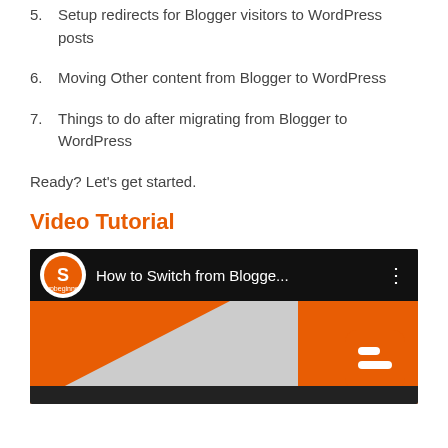5. Setup redirects for Blogger visitors to WordPress posts
6. Moving Other content from Blogger to WordPress
7. Things to do after migrating from Blogger to WordPress
Ready? Let's get started.
Video Tutorial
[Figure (screenshot): YouTube video thumbnail showing 'How to Switch from Blogge...' with WPBeginner logo and Blogger logo on orange/grey background]